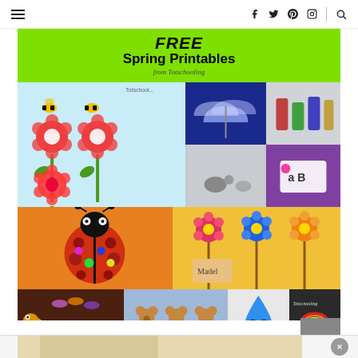Navigation bar with hamburger menu, social icons (Facebook, Twitter, Pinterest, Instagram), divider, and search icon
[Figure (illustration): FREE Spring Printables from Totschooling promotional image collage: green banner header with bold text 'FREE Spring Printables from Totschooling', below is a grid of photos showing bees on flowers printable, umbrella matching activity, snail craft, book, ladybug craft, flower name tags, caterpillar activity, bears printable, rain drop character, and Totschooling logo on chalkboard]
FREE SPRING PRINTABLES FOR KIDS
[Figure (photo): Partial view of a light beige/tan background photo at the very bottom of the page]